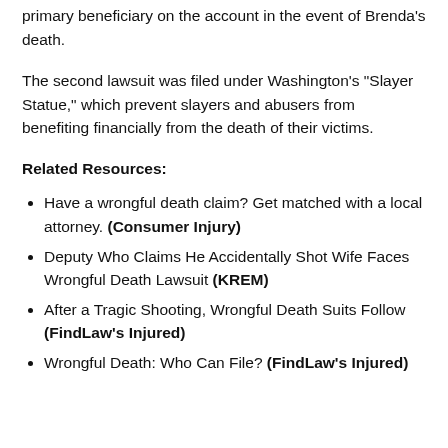primary beneficiary on the account in the event of Brenda's death.
The second lawsuit was filed under Washington's "Slayer Statue," which prevent slayers and abusers from benefiting financially from the death of their victims.
Related Resources:
Have a wrongful death claim? Get matched with a local attorney. (Consumer Injury)
Deputy Who Claims He Accidentally Shot Wife Faces Wrongful Death Lawsuit (KREM)
After a Tragic Shooting, Wrongful Death Suits Follow (FindLaw's Injured)
Wrongful Death: Who Can File? (FindLaw's Injured)